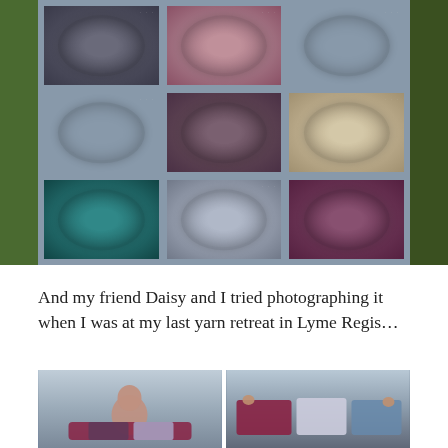[Figure (photo): A knitted or crocheted blanket/throw with a 3x3 grid of square panels, each featuring a circular spiral pattern. The panels are in various colors: grey-blue, pink/mauve, dark blue-grey (top row); light blue-grey, dark brown-purple, cream/tan (middle row); teal/dark teal, light grey, dark maroon-purple (bottom row). The blanket is held up outdoors against a grassy green background.]
And my friend Daisy and I tried photographing it when I was at my last yarn retreat in Lyme Regis…
[Figure (photo): Two side-by-side photos of a person holding a colorful knitted/crocheted shawl or blanket outdoors near water on an overcast day. Left photo shows a woman smiling holding the item spread wide. Right photo shows a close-up of the item being held with the sea/water visible in the background.]